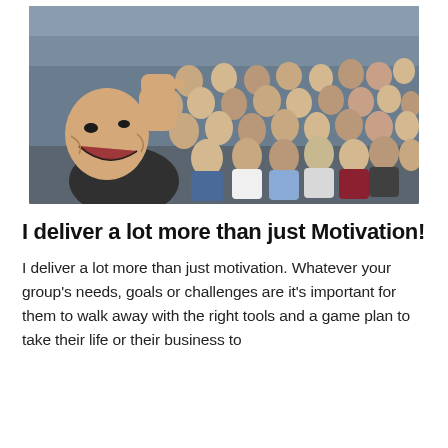[Figure (photo): A bald man in the foreground laughing and raising his fist, taking a selfie with a large group of young women seated in a lecture hall or seminar room, all smiling and posing.]
I deliver a lot more than just Motivation!
I deliver a lot more than just motivation. Whatever your group's needs, goals or challenges are it's important for them to walk away with the right tools and a game plan to take their life or their business to